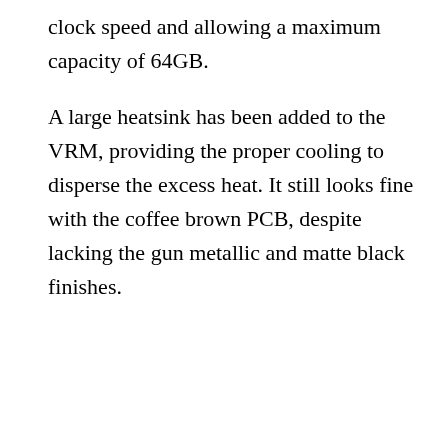clock speed and allowing a maximum capacity of 64GB.
A large heatsink has been added to the VRM, providing the proper cooling to disperse the excess heat. It still looks fine with the coffee brown PCB, despite lacking the gun metallic and matte black finishes.